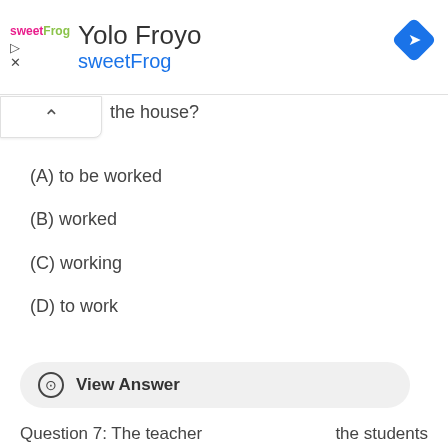[Figure (screenshot): SweetFrog Yolo Froyo advertisement banner with logo, title, subtitle, and navigation arrow icon]
the house?
(A) to be worked
(B) worked
(C) working
(D) to work
⊙  View Answer
Question 7: The teacher    the students